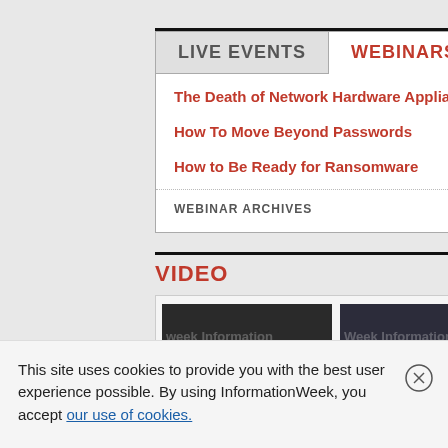LIVE EVENTS | WEBINARS
The Death of Network Hardware Appliances
How To Move Beyond Passwords
How to Be Ready for Ransomware
WEBINAR ARCHIVES
VIDEO
[Figure (photo): Two video thumbnails showing people being interviewed in front of InformationWeek branded backdrop]
This site uses cookies to provide you with the best user experience possible. By using InformationWeek, you accept our use of cookies.